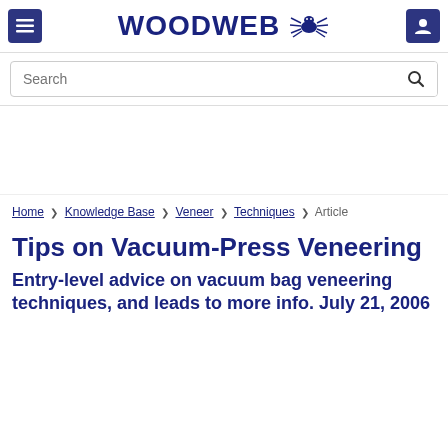WOODWEB [logo with spider]
Search
Home › Knowledge Base › Veneer › Techniques › Article
Tips on Vacuum-Press Veneering
Entry-level advice on vacuum bag veneering techniques, and leads to more info. July 21, 2006